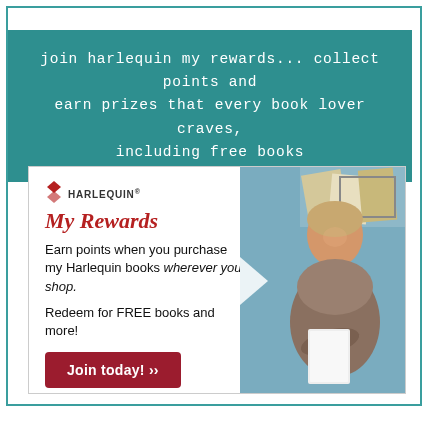join harlequin my rewards... collect points and earn prizes that every book lover craves, including free books
[Figure (infographic): Harlequin My Rewards advertisement showing logo, text about earning points when purchasing Harlequin books wherever you shop, redeeming for FREE books and more, a Join today button, and a photo of a smiling woman holding a book.]